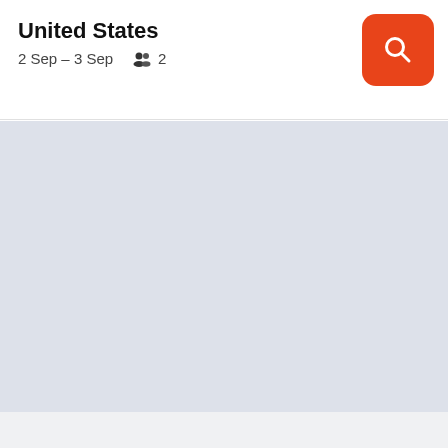United States
2 Sep – 3 Sep   👥 2
[Figure (other): Orange search button with magnifying glass icon]
[Figure (other): Light grey-blue empty content area (no search results)]